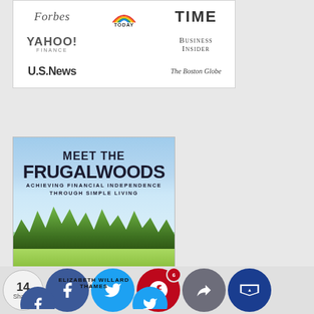[Figure (logo): Media logos grid: Forbes, TODAY (NBC), TIME, Yahoo Finance, Business Insider, U.S. News, The Boston Globe]
[Figure (photo): Book cover: Meet the Frugalwoods - Achieving Financial Independence Through Simple Living by Elizabeth Willard Thames. Illustrated cover with house, trees, family.]
[Figure (infographic): Social sharing bar with counts: 14 Shares total, Facebook button, Twitter button, Pinterest button (6), Like button, Crown/Flipboard button]